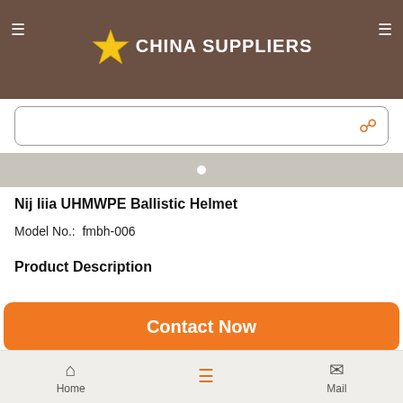CHINA SUPPLIERS
Nij Iiia UHMWPE Ballistic Helmet
Model No.:  fmbh-006
Product Description
Model NO.: fmbh-006 Using Field: Land Material: UHMWPE or Aramid Color: Black, Olive, Un Blue, Camo, Customized Defence Standard: Nij Iiia Specification: Nij iiia, HS Code: 65061000 Usage: Defense Type: Military Technical Equipment Size: Small, Middle, Big, Largest, Customized Weight:
Home  Mail